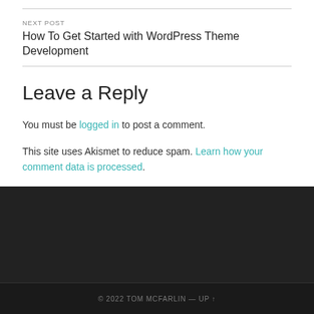NEXT POST
How To Get Started with WordPress Theme Development
Leave a Reply
You must be logged in to post a comment.
This site uses Akismet to reduce spam. Learn how your comment data is processed.
© 2022 TOM MCFARLIN — UP ↑